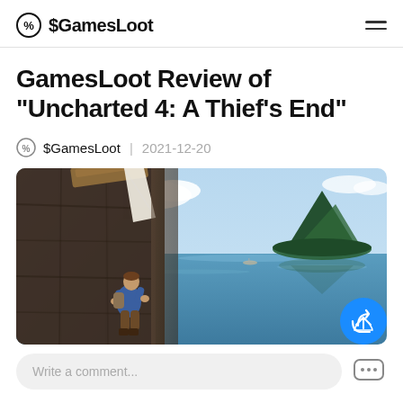$GamesLoot
GamesLoot Review of "Uncharted 4: A Thief's End"
$GamesLoot | 2021-12-20
[Figure (screenshot): Uncharted 4: A Thief's End hero image showing a character climbing a rocky cliff with a scenic island and blue sea in the background]
Write a comment...